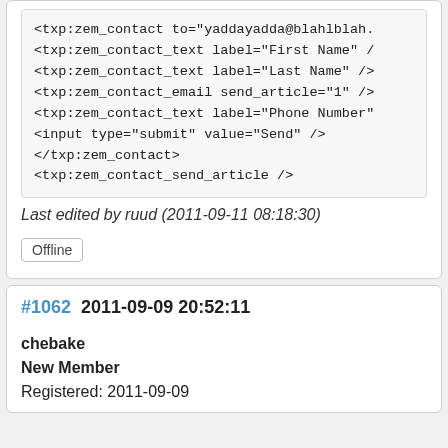<txp:zem_contact to="yaddayadda@blahlblah.
<txp:zem_contact_text label="First Name" /
<txp:zem_contact_text label="Last Name" />
<txp:zem_contact_email send_article="1" />
<txp:zem_contact_text label="Phone Number"
<input type="submit" value="Send" />
</txp:zem_contact>
<txp:zem_contact_send_article />
Last edited by ruud (2011-09-11 08:18:30)
Offline
#1062  2011-09-09 20:52:11
chebake
New Member
Registered: 2011-09-09